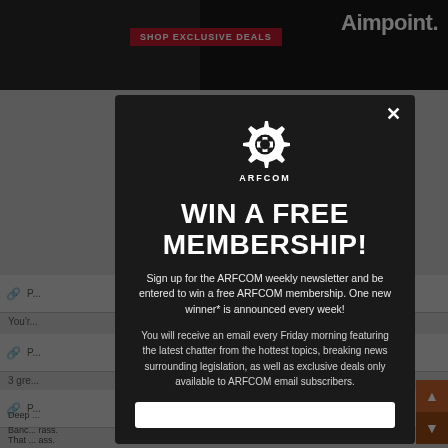[Figure (screenshot): Background webpage showing ARFCOM forum with Aimpoint advertisement banner at top and forum post list rows dimmed behind a modal overlay]
[Figure (infographic): ARFCOM modal popup with gear logo, 'WIN A FREE MEMBERSHIP!' headline, newsletter signup description, and email input field at bottom]
WIN A FREE MEMBERSHIP!
Sign up for the ARFCOM weekly newsletter and be entered to win a free ARFCOM membership. One new winner* is announced every week!
You will receive an email every Friday morning featuring the latest chatter from the hottest topics, breaking news surrounding legislation, as well as exclusive deals only available to ARFCOM email subscribers.